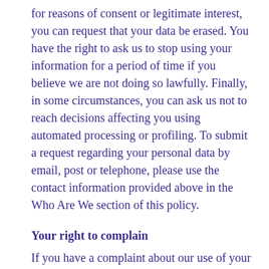for reasons of consent or legitimate interest, you can request that your data be erased. You have the right to ask us to stop using your information for a period of time if you believe we are not doing so lawfully. Finally, in some circumstances, you can ask us not to reach decisions affecting you using automated processing or profiling. To submit a request regarding your personal data by email, post or telephone, please use the contact information provided above in the Who Are We section of this policy.
Your right to complain
If you have a complaint about our use of your information, we would prefer you to contact us directly in the first instance so that we can address your complaint. However, you can also